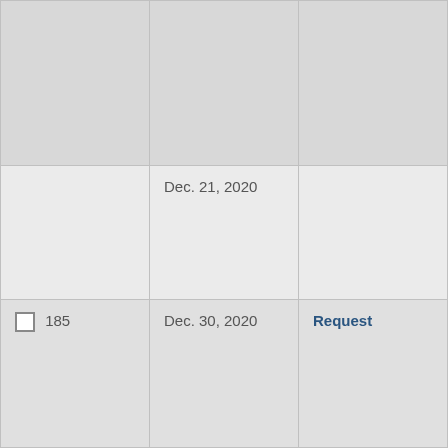|  |  |  |
|  | Dec. 21, 2020 |  |
| 185 | Dec. 30, 2020 | Request |